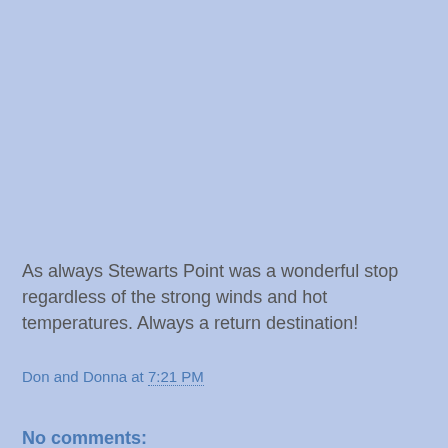As always Stewarts Point was a wonderful stop regardless of the strong winds and hot temperatures. Always a return destination!
Don and Donna at 7:21 PM
Share
No comments: